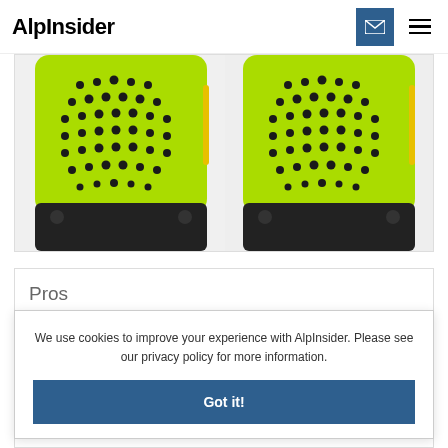AlpInsider
[Figure (photo): Two neon green portable Bluetooth speakers side by side, showing the perforated front grille and black base, cropped at the top.]
Pros
We use cookies to improve your experience with AlpInsider. Please see our privacy policy for more information.
Got it!
Weather alerts